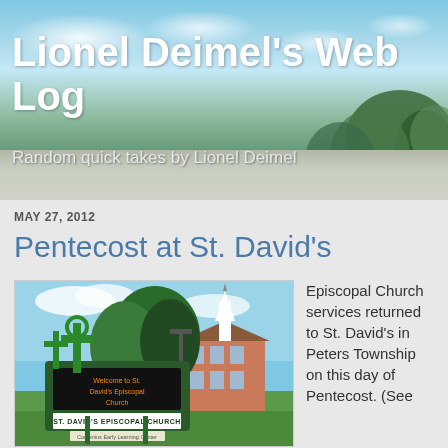Lionel Deimel's Web Log
Random quick takes by Lionel Deimel
MAY 27, 2012
Pentecost at St. David's
[Figure (photo): Photo of St. David's Episcopal Church sign with crosses and church building in background. The sign reads 'Welcome to St. David's Episcopal Church' on a marquee display, and 'ST. DAVID'S EPISCOPAL CHURCH' on a white panel below, and 'Comenius Early Learning Center' on a smaller sign underneath.]
Episcopal Church services returned to St. David's in Peters Township on this day of Pentecost. (See